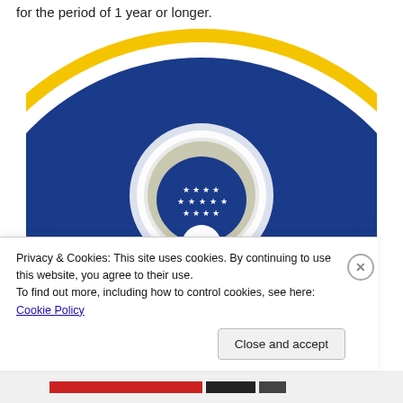for the period of 1 year or longer.
[Figure (logo): Great Seal of the United States (partial, showing top arc with text UNITED STATES OF AMERI... and eagle with E PLURIBUS UNUM banner)]
Privacy & Cookies: This site uses cookies. By continuing to use this website, you agree to their use.
To find out more, including how to control cookies, see here: Cookie Policy
Close and accept